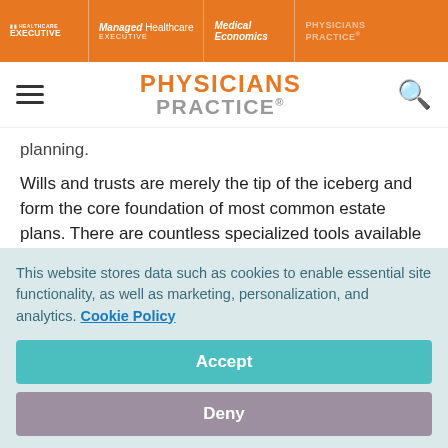HEALTHCARE EXECUTIVE | Managed Healthcare EXECUTIVE | Medical Economics | PHYSICIANS PRACTICE
[Figure (logo): Physicians Practice site header with hamburger menu, orange and gray logo, and search icon]
planning.
Wills and trusts are merely the tip of the iceberg and form the core foundation of most common estate plans. There are countless specialized tools available like Irrevocable Life Insurance Trusts (ILIT) that help protect the cash value of life insurance as an asset and which remove the proceeds of the
This website stores data such as cookies to enable essential site functionality, as well as marketing, personalization, and analytics. Cookie Policy
Accept
Deny